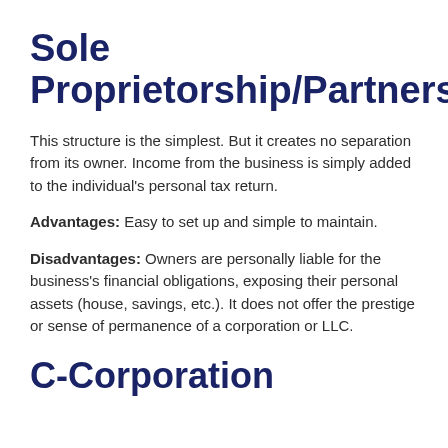Sole Proprietorship/Partnership
This structure is the simplest. But it creates no separation from its owner. Income from the business is simply added to the individual's personal tax return.
Advantages: Easy to set up and simple to maintain.
Disadvantages: Owners are personally liable for the business's financial obligations, exposing their personal assets (house, savings, etc.). It does not offer the prestige or sense of permanence of a corporation or LLC.
C-Corporation